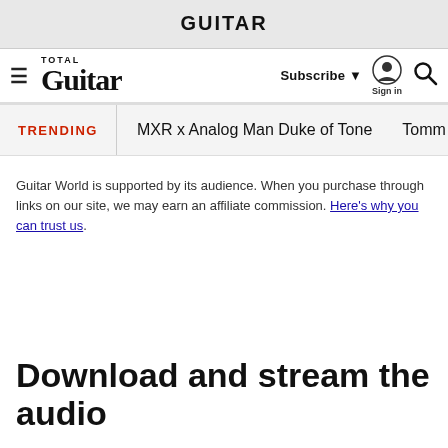GUITAR
[Figure (logo): Total Guitar logo with hamburger menu, Subscribe button, Sign in icon, and search icon navigation bar]
TRENDING   MXR x Analog Man Duke of Tone   Tomm…
Guitar World is supported by its audience. When you purchase through links on our site, we may earn an affiliate commission. Here's why you can trust us.
Download and stream the audio